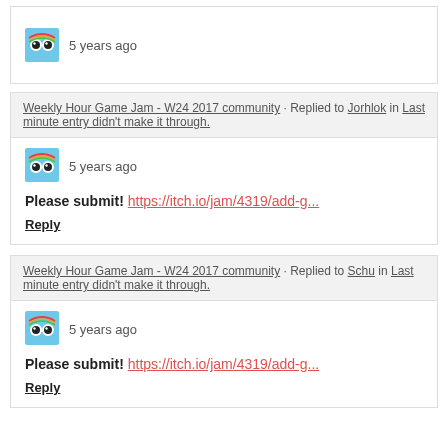5 years ago
Weekly Hour Game Jam - W24 2017 community · Replied to Jorhlok in Last minute entry didn't make it through.
5 years ago
Please submit! https://itch.io/jam/4319/add-g...
Reply
Weekly Hour Game Jam - W24 2017 community · Replied to Schu in Last minute entry didn't make it through.
5 years ago
Please submit! https://itch.io/jam/4319/add-g...
Reply